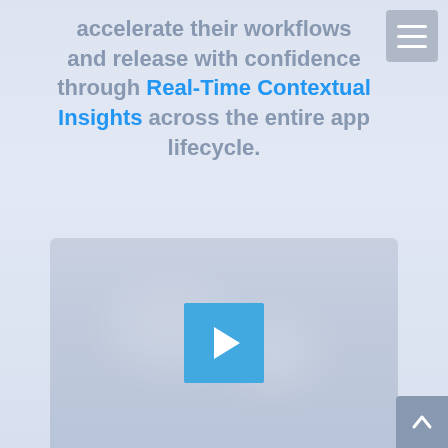[Figure (other): Hamburger/menu icon button in top-right corner, gray background with three white horizontal lines]
accelerate their workflows and release with confidence through Real-Time Contextual Insights across the entire app lifecycle.
[Figure (screenshot): Video thumbnail placeholder with a blue play button in the center, blurred light glow spots on a gray-blue background]
[Figure (other): Scroll-to-top arrow button in the bottom-right corner, gray background with white upward arrow]